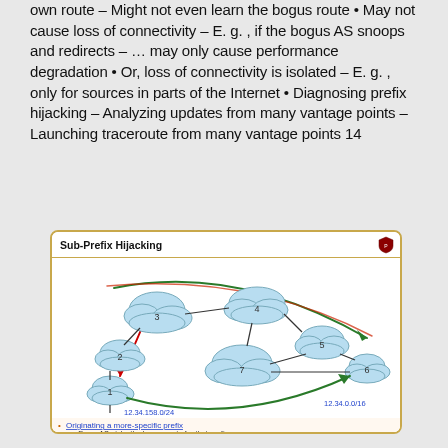own route – Might not even learn the bogus route • May not cause loss of connectivity – E. g. , if the bogus AS snoops and redirects – … may only cause performance degradation • Or, loss of connectivity is isolated – E. g. , only for sources in parts of the Internet • Diagnosing prefix hijacking – Analyzing updates from many vantage points – Launching traceroute from many vantage points 14
[Figure (network-graph): Sub-Prefix Hijacking diagram showing cloud-shaped AS nodes numbered 1-8, connected by black lines, with red and green curved arrows showing routing paths. Node 1 at bottom-left is labeled with 12.34.158.0/24, and node 6 at far right is labeled 12.34.0.0/16. Bullet points below network: 'Originating a more-specific prefix', 'Every AS picks the bogus route for that prefix', 'Traffic follows the longest matching prefix']